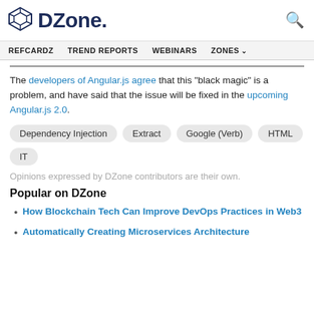DZone
The developers of Angular.js agree that this "black magic" is a problem, and have said that the issue will be fixed in the upcoming Angular.js 2.0.
Dependency Injection
Extract
Google (Verb)
HTML
IT
Opinions expressed by DZone contributors are their own.
Popular on DZone
How Blockchain Tech Can Improve DevOps Practices in Web3
Automatically Creating Microservices Architecture